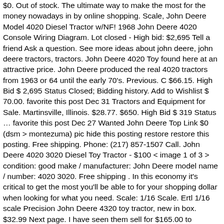$0. Out of stock. The ultimate way to make the most for the money nowadays in by online shopping. Scale, John Deere Model 4020 Diesel Tractor w/NF! 1968 John Deere 4020 Console Wiring Diagram. Lot closed - High bid: $2,695 Tell a friend Ask a question. See more ideas about john deere, john deere tractors, tractors. John Deere 4020 Toy found here at an attractive price. John Deere produced the real 4020 tractors from 1963 or 64 until the early 70's. Previous. C $66.15. High Bid $ 2,695 Status Closed; Bidding history. Add to Wishlist $ 70.00. favorite this post Dec 31 Tractors and Equipment for Sale. Martinsville, Illinois. $28.77. $650. High Bid $ 319 Status … favorite this post Dec 27 Wanted John Deere Top Link $0 (dsm > montezuma) pic hide this posting restore restore this posting. Free shipping. Phone: (217) 857-1507 Call. John Deere 4020 3020 Diesel Toy Tractor - $100 < image 1 of 3 > condition: good make / manufacturer: John Deere model name / number: 4020 3020. Free shipping . In this economy it's critical to get the most you'll be able to for your shopping dollar when looking for what you need. Scale: 1/16 Scale. Ertl 1/16 scale Precision John Deere 4320 toy tractor, new in box. $32.99 Next page. I have seen them sell for $165.00 to $300.00. Phone: (217) 857-1507 Call. John Deere 4020 Front End Parts $400 (min > Belle Plaine) hide this posting restore